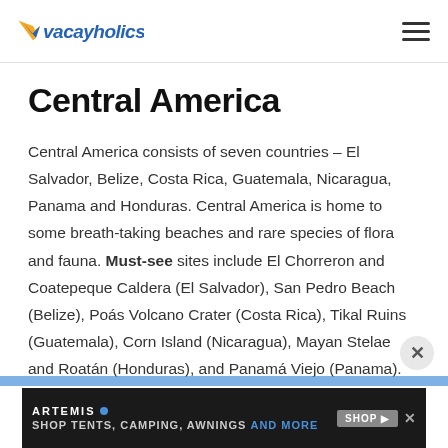Vacayholics
Central America
Central America consists of seven countries – El Salvador, Belize, Costa Rica, Guatemala, Nicaragua, Panama and Honduras. Central America is home to some breath-taking beaches and rare species of flora and fauna. Must-see sites include El Chorreron and Coatepeque Caldera (El Salvador), San Pedro Beach (Belize), Poás Volcano Crater (Costa Rica), Tikal Ruins (Guatemala), Corn Island (Nicaragua), Mayan Stelae and Roatán (Honduras), and Panamá Viejo (Panama).
[Figure (other): Advertisement banner: Artemis brand - Shop Tents, Camping, Awnings and More]